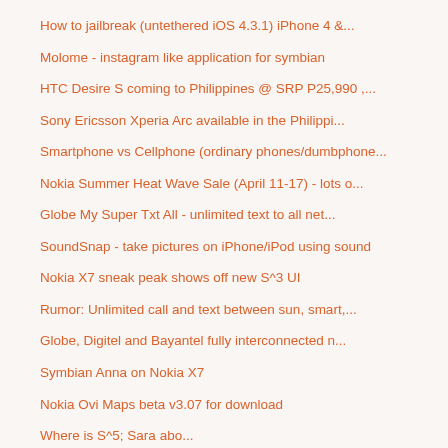How to jailbreak (untethered iOS 4.3.1) iPhone 4 &...
Molome - instagram like application for symbian
HTC Desire S coming to Philippines @ SRP P25,990 ,...
Sony Ericsson Xperia Arc available in the Philippi...
Smartphone vs Cellphone (ordinary phones/dumbphone...
Nokia Summer Heat Wave Sale (April 11-17) - lots o...
Globe My Super Txt All - unlimited text to all net...
SoundSnap - take pictures on iPhone/iPod using sound
Nokia X7 sneak peak shows off new S^3 UI
Rumor: Unlimited call and text between sun, smart,...
Globe, Digitel and Bayantel fully interconnected n...
Symbian Anna on Nokia X7
Nokia Ovi Maps beta v3.07 for download
Where is S^5, Sara abo...